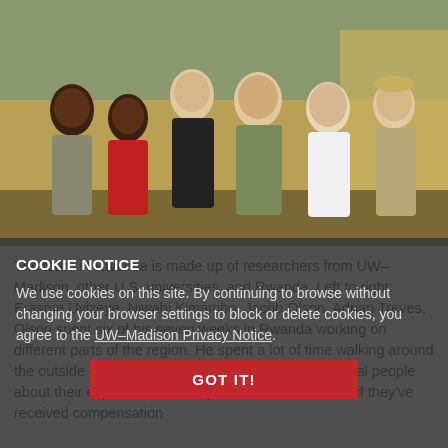[Figure (photo): Group photo of five researchers standing outdoors in a grassy/savanna setting. Left to right: Erasme Uyizeye, Niwabi Kimambo, Jacob Olson, Adrian Treves, and Drew Bantlin. Image by Jacob Olson.]
The team in Rwanda is made up of researchers from UW–Madison, other U.S. universities, and Rwanda. Left to right: Erasme Uyizeye, Niwabi Kimambo, Jacob Olson, Adrian Treves, Drew Bantlin. Image by Jacob Olson.
Olson spent six of his seven weeks in Rwanda working on different parts of the region. He spent a lot of time walking around the outside of the park with a translator asking the local people about their experiences with hyenas. He was curious if they've received compensation
COOKIE NOTICE
We use cookies on this site. By continuing to browse without changing your browser settings to block or delete cookies, you agree to the UW–Madison Privacy Notice.
GOT IT!